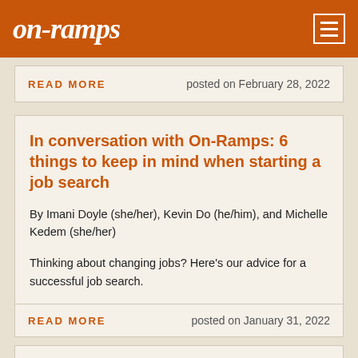on-ramps
READ MORE   posted on February 28, 2022
In conversation with On-Ramps: 6 things to keep in mind when starting a job search
By Imani Doyle (she/her), Kevin Do (he/him), and Michelle Kedem (she/her)
Thinking about changing jobs? Here’s our advice for a successful job search.
READ MORE   posted on January 31, 2022